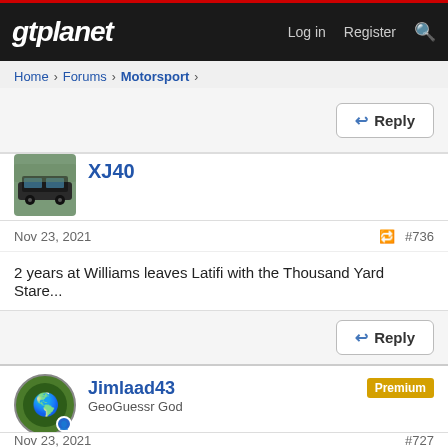gtplanet — Log in  Register
Home › Forums › Motorsport ›
Reply
XJ40
Nov 23, 2021   #736
2 years at Williams leaves Latifi with the Thousand Yard Stare...
Reply
Jimlaad43  Premium
GeoGuessr God
Nov 23, 2021   #737